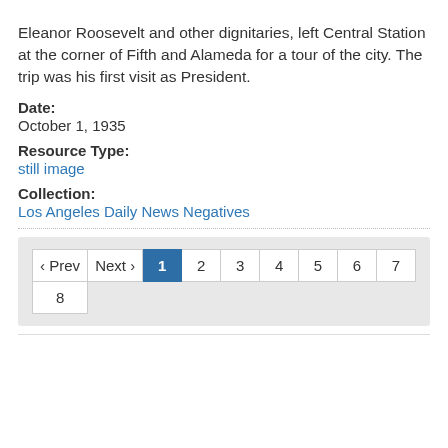Eleanor Roosevelt and other dignitaries, left Central Station at the corner of Fifth and Alameda for a tour of the city. The trip was his first visit as President.
Date:
October 1, 1935
Resource Type:
still image
Collection:
Los Angeles Daily News Negatives
[Figure (other): Pagination control showing Prev, Next, and page numbers 1 (active/highlighted) through 8]